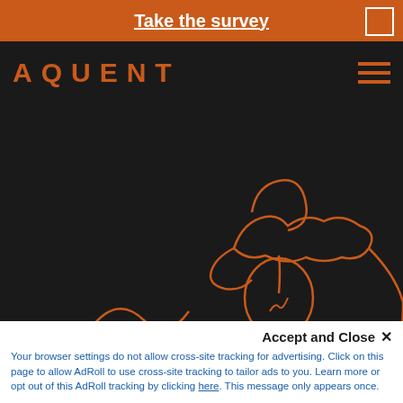Take the survey
[Figure (logo): AQUENT logo in orange on dark background with hamburger menu icon]
[Figure (illustration): Orange line-art illustration of a hand holding a lightbulb on dark background]
Accept and Close ✕
Your browser settings do not allow cross-site tracking for advertising. Click on this page to allow AdRoll to use cross-site tracking to tailor ads to you. Learn more or opt out of this AdRoll tracking by clicking here. This message only appears once.